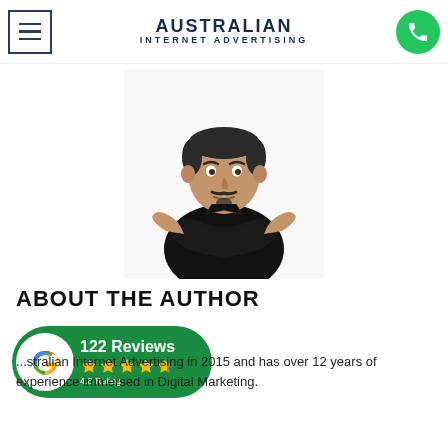AUSTRALIAN INTERNET ADVERTISING
[Figure (photo): Man in black t-shirt with arms crossed, white background, author photo]
ABOUT THE AUTHOR
[Figure (infographic): Google review badge showing 122 Reviews, 4 and a half stars, 4.8 Rating on green rounded pill background with Google G logo]
...stralian Internet Advertising in 2015 and has over 12 years of experience immersed in Digital Marketing.